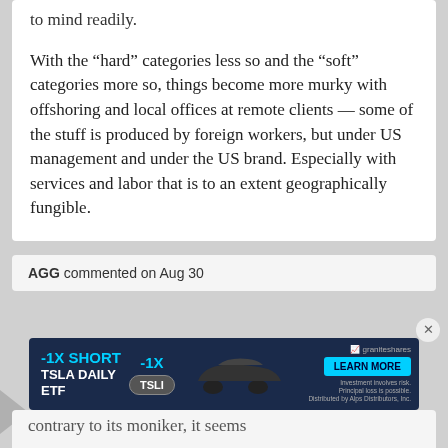to mind readily.
With the “hard” categories less so and the “soft” categories more so, things become more murky with offshoring and local offices at remote clients — some of the stuff is produced by foreign workers, but under US management and under the US brand. Especially with services and labor that is to an extent geographically fungible.
AGG commented on Aug 30
[Figure (screenshot): Advertisement banner for -1X SHORT TSLA DAILY ETF with ticker TSLI, featuring a car image and Learn More button from GraniteShares]
contrary to its moniker, it seems